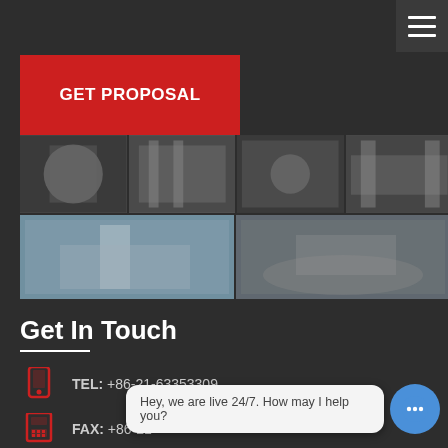[Figure (screenshot): Hamburger menu icon (three horizontal lines) on dark background top-right corner]
[Figure (other): Red GET PROPOSAL button]
[Figure (photo): Grid of industrial machinery photos — two rows of factory/equipment images]
Get In Touch
TEL: +86-21-63353309
FAX: +86-21-
ADDRESS
Hey, we are live 24/7. How may I help you?